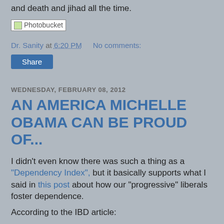and death and jihad all the time.
[Figure (photo): Photobucket image placeholder with broken image icon and text 'Photobucket']
Dr. Sanity at 6:20 PM    No comments:
Share
WEDNESDAY, FEBRUARY 08, 2012
AN AMERICA MICHELLE OBAMA CAN BE PROUD OF...
I didn't even know there was such a thing as a "Dependency Index", but it basically supports what I said in this post about how our "progressive" liberals foster dependence.
According to the IBD article:
The American public's dependence on the federal government shot up 23% in just two years under President Obama, with 67 million now relying on